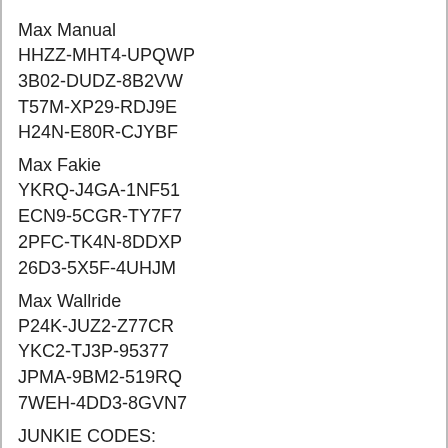Max Manual
HHZZ-MHT4-UPQWP
3B02-DUDZ-8B2VW
T57M-XP29-RDJ9E
H24N-E80R-CJYBF
Max Fakie
YKRQ-J4GA-1NF51
ECN9-5CGR-TY7F7
2PFC-TK4N-8DDXP
26D3-5X5F-4UHJM
Max Wallride
P24K-JUZ2-Z77CR
YKC2-TJ3P-95377
JPMA-9BM2-519RQ
7WEH-4DD3-8GVN7
JUNKIE CODES:
All Levels Unlocked